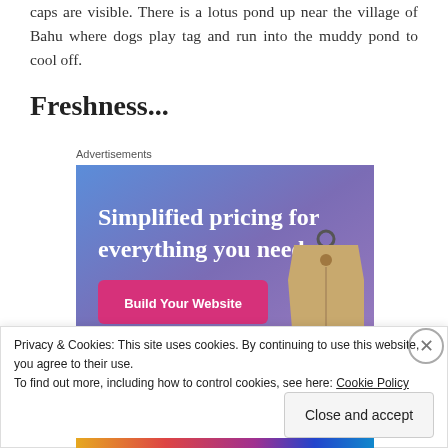caps are visible. There is a lotus pond up near the village of Bahu where dogs play tag and run into the muddy pond to cool off.
Freshness...
Advertisements
[Figure (illustration): Advertisement banner with blue-purple gradient background showing text 'Simplified pricing for everything you need.' with a pink 'Build Your Website' button and a hanging price tag graphic.]
Privacy & Cookies: This site uses cookies. By continuing to use this website, you agree to their use.
To find out more, including how to control cookies, see here: Cookie Policy
Close and accept